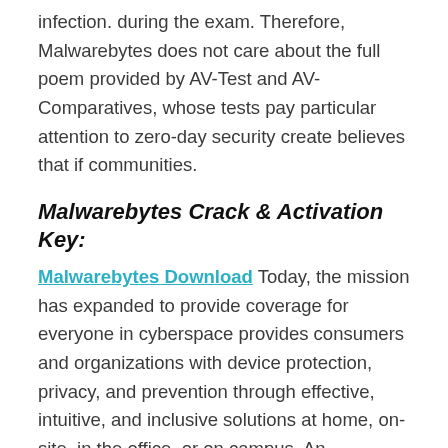infection. during the exam. Therefore, Malwarebytes does not care about the full poem provided by AV-Test and AV-Comparatives, whose tests pay particular attention to zero-day security create believes that if communities.
Malwarebytes Crack & Activation Key:
Malwarebytes Download Today, the mission has expanded to provide coverage for everyone in cyberspace provides consumers and organizations with device protection, privacy, and prevention through effective, intuitive, and inclusive solutions at home, on-site, in the office, or on campus. An international team of researchers and security